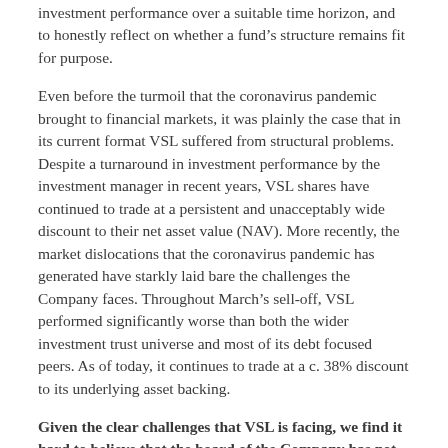investment performance over a suitable time horizon, and to honestly reflect on whether a fund's structure remains fit for purpose.
Even before the turmoil that the coronavirus pandemic brought to financial markets, it was plainly the case that in its current format VSL suffered from structural problems. Despite a turnaround in investment performance by the investment manager in recent years, VSL shares have continued to trade at a persistent and unacceptably wide discount to their net asset value (NAV). More recently, the market dislocations that the coronavirus pandemic has generated have starkly laid bare the challenges the Company faces. Throughout March's sell-off, VSL performed significantly worse than both the wider investment trust universe and most of its debt focused peers. As of today, it continues to trade at a c. 38% discount to its underlying asset backing.
Given the clear challenges that VSL is facing, we find it hard to believe that the board of the Company has not been directly engaged in a rigorous and proactive shareholder engagement program ahead of this important vote. Therefore, we find ourselves deeply concerned that the board will be bringing forward its own set of proposals for the Company's future without widespread